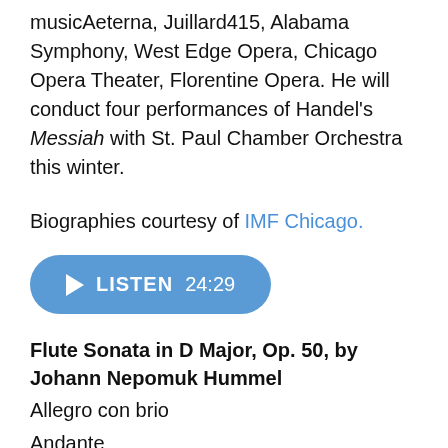musicAeterna, Juillard415, Alabama Symphony, West Edge Opera, Chicago Opera Theater, Florentine Opera. He will conduct four performances of Handel's Messiah with St. Paul Chamber Orchestra this winter.
Biographies courtesy of IMF Chicago.
[Figure (other): Blue rounded pill-shaped play button with white play triangle icon, bold text LISTEN and time 24:29]
Flute Sonata in D Major, Op. 50, by Johann Nepomuk Hummel
Allegro con brio
Andante
Rondo, Pastorale